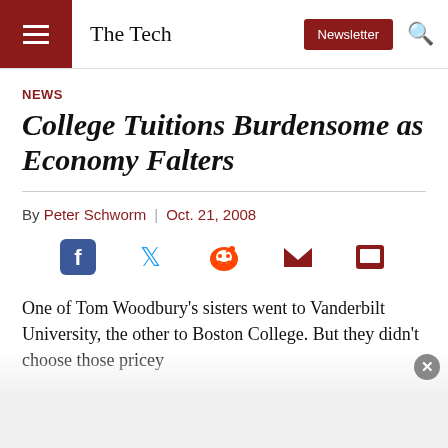The Tech | Newsletter
NEWS
College Tuitions Burdensome as Economy Falters
By Peter Schworm | Oct. 21, 2008
[Figure (infographic): Social sharing icons: Facebook, Twitter, Reddit, Email, Print]
One of Tom Woodbury's sisters went to Vanderbilt University, the other to Boston College. But they didn't choose those pricey